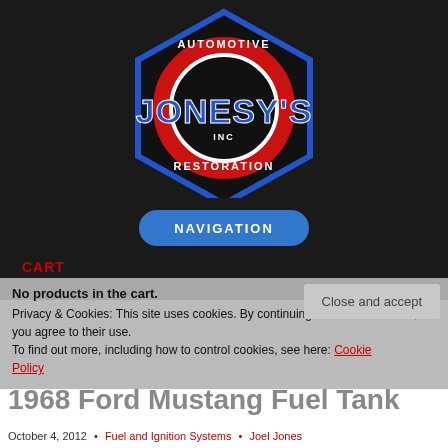[Figure (logo): Jonesy's Automotive Restoration Inc logo — hexagonal dark badge with blue outline, red and white circular band, bold blue text 'JONESY'S', text 'AUTOMOTIVE' at top and 'RESTORATION' at bottom, 'INC' in center circle]
[Figure (other): Blue rounded rectangle navigation button with white text 'NAVIGATION']
CART
No products in the cart.
Privacy & Cookies: This site uses cookies. By continuing to use this website, you agree to their use.
To find out more, including how to control cookies, see here: Cookie Policy
Close and accept
1968 Ford Mustang Fuel Tank
October 4, 2012  •  Fuel and Ignition Systems  •  Joel Jones